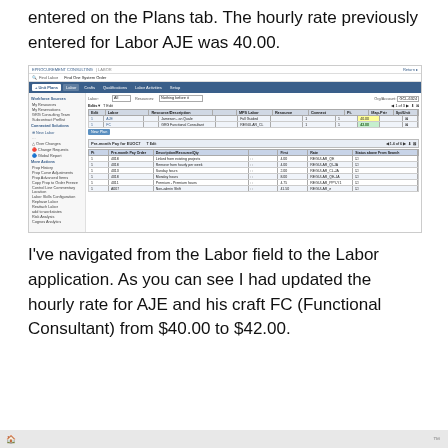entered on the Plans tab. The hourly rate previously entered for Labor AJE was 40.00.
[Figure (screenshot): Screenshot of a Labor application interface showing navigation sidebar, labor records with AJE and FC entries, and a pay code grid showing updated hourly rate of 42.00]
I've navigated from the Labor field to the Labor application. As you can see I had updated the hourly rate for AJE and his craft FC (Functional Consultant) from $40.00 to $42.00.